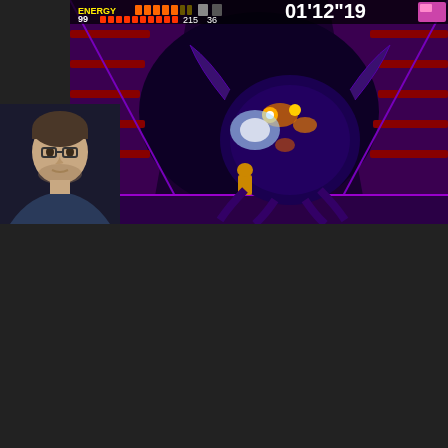[Figure (screenshot): Top video: gameplay screenshot of Metroid Fusion showing boss battle with large dark creature in purple sci-fi environment. HUD shows ENERGY, 99, health bar, 215, 36, timer 01'12"19. Webcam shows male streamer with glasses in bottom-left corner.]
[Figure (screenshot): Bottom video: YouTube video player thumbnail of same Metroid Fusion gameplay with YouTube overlay showing channel icon (red explosion graphic), title 'Let’s Play Metroid Fusion with …', three-dot menu, and a play button in the center. Webcam shows same streamer in bottom-left.]